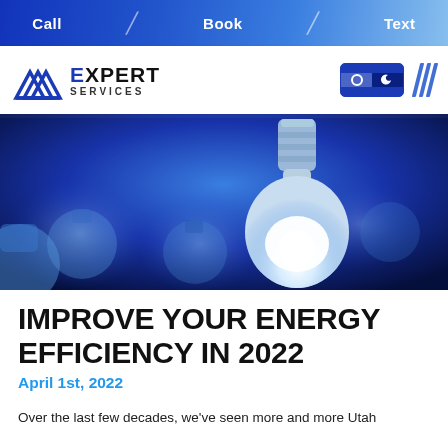Call | Book | Text
[Figure (logo): Expert Services logo with blue mountain/triangle icon, text 'EXPERT SERVICES', toggle widget and slash decoration]
[Figure (photo): Close-up photo of illuminated LED light bulbs against a blue-toned background]
IMPROVE YOUR ENERGY EFFICIENCY IN 2022
April 1st, 2022
Over the last few decades, we've seen more and more Utah